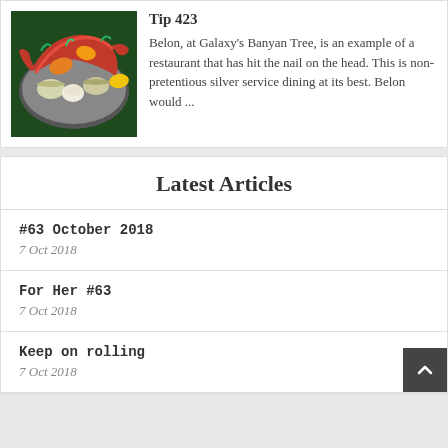[Figure (photo): A plate of seafood including lobster, clams, and various shellfish with colorful garnishes]
Tip 423
Belon, at Galaxy's Banyan Tree, is an example of a restaurant that has hit the nail on the head. This is non-pretentious silver service dining at its best. Belon would ...
Latest Articles
#63 October 2018
7 Oct 2018
For Her #63
7 Oct 2018
Keep on rolling
7 Oct 2018